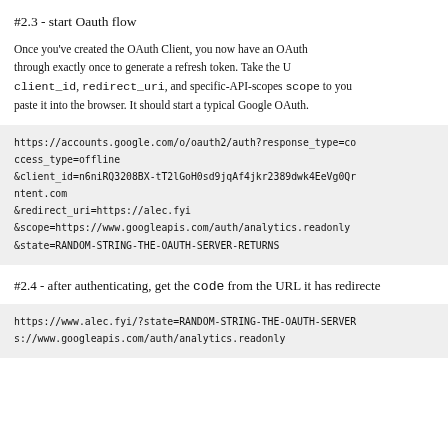#2.3 - start Oauth flow
Once you've created the OAuth Client, you now have an OAuth through exactly once to generate a refresh token. Take the U client_id, redirect_uri, and specific-API-scopes scope to you paste it into the browser. It should start a typical Google OAuth.
https://accounts.google.com/o/oauth2/auth?response_type=co ccess_type=offline &client_id=n6niRQ3208BX-tT2lGoH0sd9jqAf4jkr2389dwk4EeVg0Qr ntent.com &redirect_uri=https://alec.fyi &scope=https://www.googleapis.com/auth/analytics.readonly &state=RANDOM-STRING-THE-OAUTH-SERVER-RETURNS
#2.4 - after authenticating, get the code from the URL it has redirecte
https://www.alec.fyi/?state=RANDOM-STRING-THE-OAUTH-SERVER s://www.googleapis.com/auth/analytics.readonly